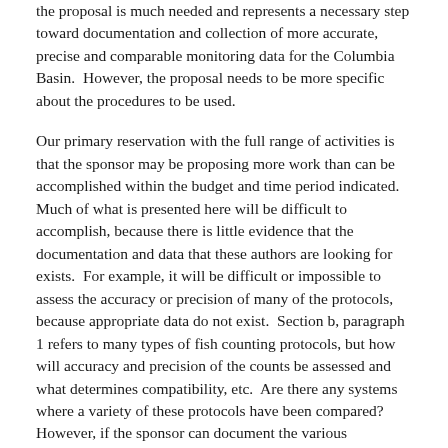the proposal is much needed and represents a necessary step toward documentation and collection of more accurate, precise and comparable monitoring data for the Columbia Basin. However, the proposal needs to be more specific about the procedures to be used.
Our primary reservation with the full range of activities is that the sponsor may be proposing more work than can be accomplished within the budget and time period indicated. Much of what is presented here will be difficult to accomplish, because there is little evidence that the documentation and data that these authors are looking for exists. For example, it will be difficult or impossible to assess the accuracy or precision of many of the protocols, because appropriate data do not exist. Section b, paragraph 1 refers to many types of fish counting protocols, but how will accuracy and precision of the counts be assessed and what determines compatibility, etc. Are there any systems where a variety of these protocols have been compared? However, if the sponsor can document the various procedures used in the Basin and how regularly these methods are applied, and begin to assess accuracy and precision of the methods, then the project would be very